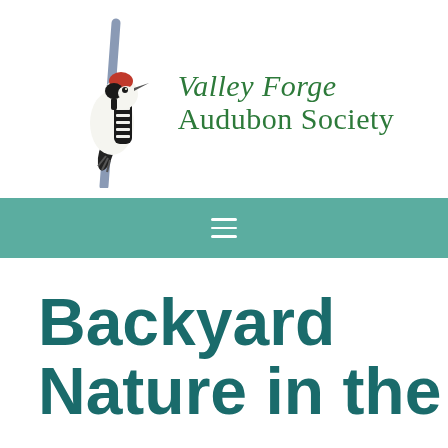[Figure (logo): Valley Forge Audubon Society logo featuring a black and white woodpecker with red head marking perched on a branch, with the organization name in green italic and serif text]
[Figure (other): Teal/green navigation bar with a white hamburger menu icon (three horizontal lines)]
Backyard Nature in the